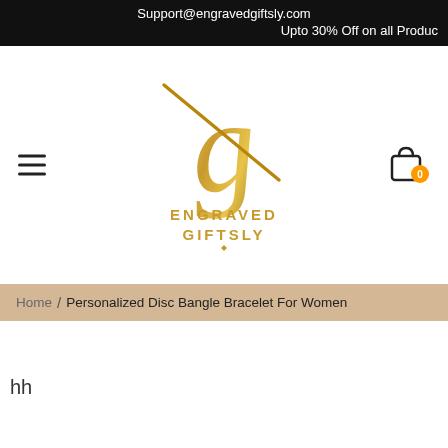Support@engravedgiftsly.com
Upto 30% Off on all Produc
[Figure (logo): Engraved Giftsly logo — stylized gold 'g' letter with a line through it, below text reading ENGRAVED GIFTSLY in gold lettering]
Home / Personalized Disc Bangle Bracelet For Women
hh